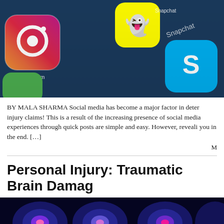[Figure (photo): Close-up photo of smartphone screen showing social media app icons: Instagram (pink/purple gradient), Snapchat (yellow), Skype (cyan/light blue), and another green app icon, against a dark blue background.]
BY MALA SHARMA Social media has become a major factor in deter injury claims! This is a result of the increasing presence of social media experiences through quick posts are simple and easy. However, reveali you in the end. […]
M
Personal Injury: Traumatic Brain Damag
[Figure (photo): Blue-tinted X-ray or scan image showing multiple human skulls or brain scans in a dark blue/purple color scheme with pink and magenta highlights.]